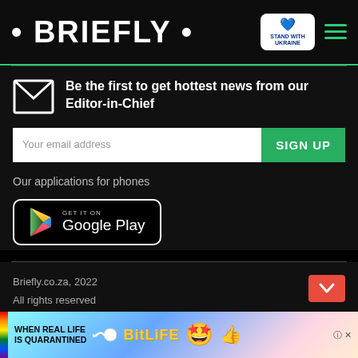• BRIEFLY •
Be the first to get hottest news from our Editor-in-Chief
Your email address
SIGN UP
Our applications for phones
[Figure (logo): GET IT ON Google Play badge]
Briefly.co.za, 2022
All rights reserved
[Figure (infographic): Ad banner: WHEN REAL LIFE IS QUARANTINED - BitLife game advertisement]